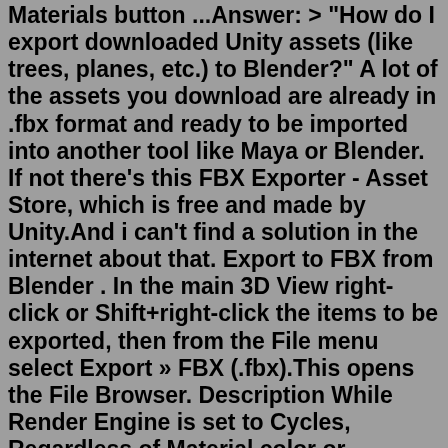Materials button ...Answer: > "How do I export downloaded Unity assets (like trees, planes, etc.) to Blender?" A lot of the assets you download are already in .fbx format and ready to be imported into another tool like Maya or Blender. If not there's this FBX Exporter - Asset Store, which is free and made by Unity.And i can't find a solution in the internet about that. Export to FBX from Blender . In the main 3D View right-click or Shift+right-click the items to be exported, then from the File menu select Export » FBX (.fbx).This opens the File Browser. Description While Render Engine is set to Cycles, Regardless of Material color or Viewport Color of the material, Materials do not export with Color information (FBX). They will only export if material "use_nodes" is set False. To do that artists needs to switch to Blender Render. It's very clunky and unpredictable workflow.From that moment you may export your mesh to fbx. Choose Export option from render window context menu and select Fbx Mesh as export type. Your export file will include only mesh with